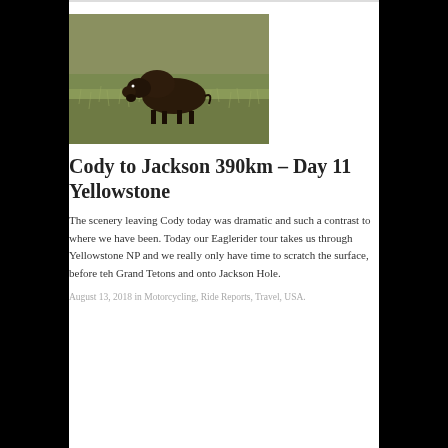[Figure (photo): A bison walking through grassland/prairie field with tall green-brown grass in the background]
Cody to Jackson 390km – Day 11 Yellowstone
The scenery leaving Cody today was dramatic and such a contrast to where we have been. Today our Eaglerider tour takes us through Yellowstone NP and we really only have time to scratch the surface, before teh Grand Tetons and onto Jackson Hole.
August 13, 2018 in Motorcycling, Ride Reports, Travel, USA.